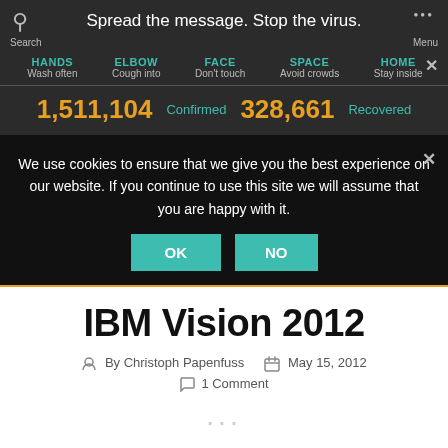Spread the message. Stop the virus.
HANDS Wash often   ELBOW Cough into   FACE Don't touch   SPACE Avoid crowds   HOME Stay inside
1,511,104 Confirmed   328,661 Recovered
We use cookies to ensure that we give you the best experience on our website. If you continue to use this site we will assume that you are happy with it.
IBM Vision 2012
By Christoph Papenfuss   May 15, 2012
1 Comment